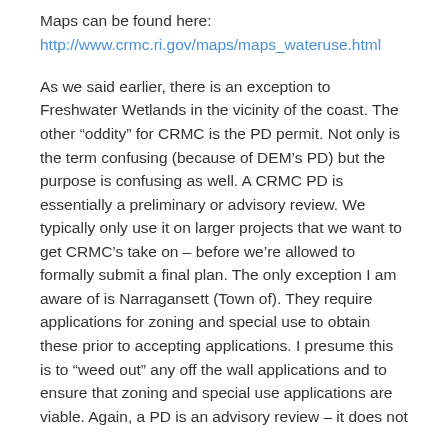Maps can be found here:
http://www.crmc.ri.gov/maps/maps_wateruse.html
As we said earlier, there is an exception to Freshwater Wetlands in the vicinity of the coast. The other “oddity” for CRMC is the PD permit. Not only is the term confusing (because of DEM’s PD) but the purpose is confusing as well. A CRMC PD is essentially a preliminary or advisory review. We typically only use it on larger projects that we want to get CRMC’s take on – before we’re allowed to formally submit a final plan. The only exception I am aware of is Narragansett (Town of). They require applications for zoning and special use to obtain these prior to accepting applications. I presume this is to “weed out” any off the wall applications and to ensure that zoning and special use applications are viable. Again, a PD is an advisory review – it does not